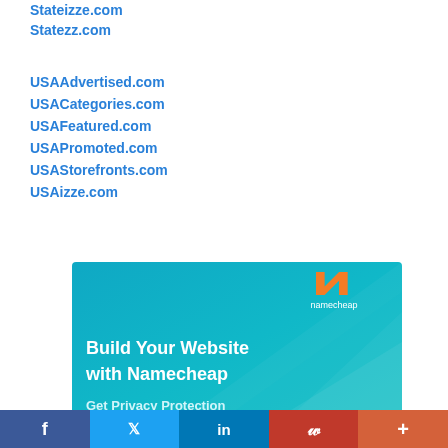Stateizze.com
Statezz.com
USAAdvertised.com
USACategories.com
USAFeatured.com
USAPromoted.com
USAStorefronts.com
USAizze.com
[Figure (infographic): Namecheap advertisement banner with teal/blue gradient background, Namecheap orange logo, text 'Build Your Website with Namecheap' and 'Get Privacy Protection']
f  Twitter  in  Pinterest  +